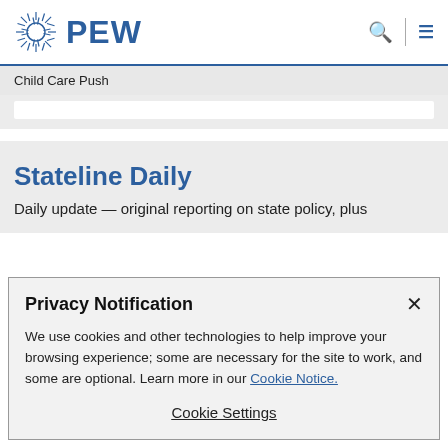PEW
Child Care Push
Stateline Daily
Daily update — original reporting on state policy, plus
Privacy Notification
We use cookies and other technologies to help improve your browsing experience; some are necessary for the site to work, and some are optional. Learn more in our Cookie Notice.
Cookie Settings